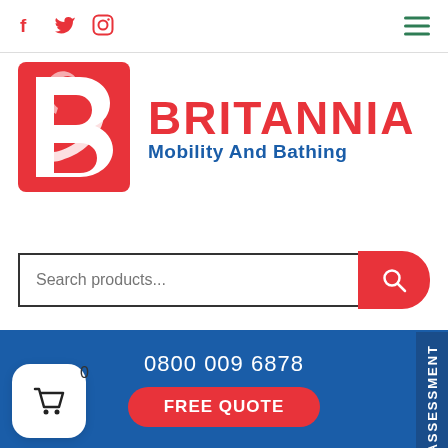Social icons: f, Twitter, Instagram | Hamburger menu
[Figure (logo): Britannia Mobility And Bathing logo with red Britannia helmet icon and red/blue text]
Search products...
0800 009 6878
FREE QUOTE
FREE ASSESSMENT
0